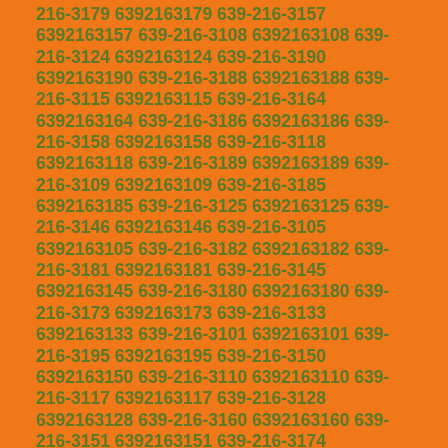216-3179 6392163179 639-216-3157 6392163157 639-216-3108 6392163108 639-216-3124 6392163124 639-216-3190 6392163190 639-216-3188 6392163188 639-216-3115 6392163115 639-216-3164 6392163164 639-216-3186 6392163186 639-216-3158 6392163158 639-216-3118 6392163118 639-216-3189 6392163189 639-216-3109 6392163109 639-216-3185 6392163185 639-216-3125 6392163125 639-216-3146 6392163146 639-216-3105 6392163105 639-216-3182 6392163182 639-216-3181 6392163181 639-216-3145 6392163145 639-216-3180 6392163180 639-216-3173 6392163173 639-216-3133 6392163133 639-216-3101 6392163101 639-216-3195 6392163195 639-216-3150 6392163150 639-216-3110 6392163110 639-216-3117 6392163117 639-216-3128 6392163128 639-216-3160 6392163160 639-216-3151 6392163151 639-216-3174 6392163174 639-216-3137 6392163137 639-216-3139 6392163139 639-216-3196 6392163196 639-216-3131 6392163131 639-216-3112 6392163112 639-216-3154 6392163154 639-216-3121 6392163121